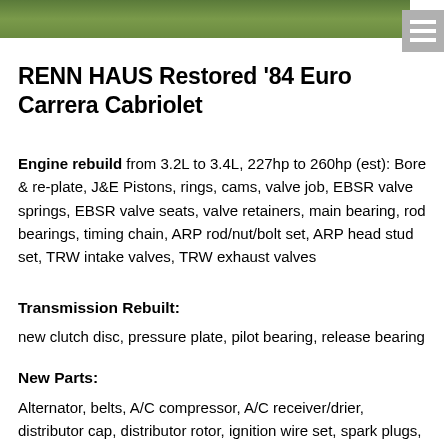[Figure (photo): Top portion of a photo showing green grass/lawn background]
RENN HAUS Restored '84 Euro Carrera Cabriolet
Engine rebuild from 3.2L to 3.4L, 227hp to 260hp (est): Bore & re-plate, J&E Pistons, rings, cams, valve job, EBSR valve springs, EBSR valve seats, valve retainers, main bearing, rod bearings, timing chain, ARP rod/nut/bolt set, ARP head stud set, TRW intake valves, TRW exhaust valves
Transmission Rebuilt:
new clutch disc, pressure plate, pilot bearing, release bearing
New Parts:
Alternator, belts, A/C compressor, A/C receiver/drier, distributor cap, distributor rotor, ignition wire set, spark plugs, air mass